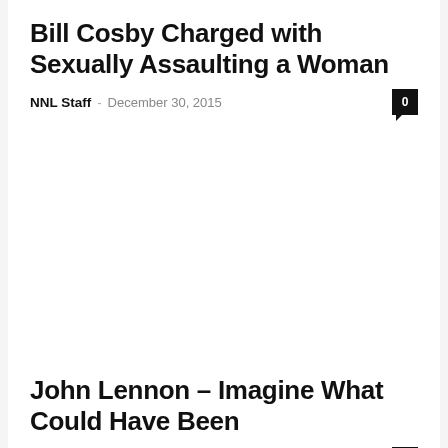Bill Cosby Charged with Sexually Assaulting a Woman
NNL Staff – December 30, 2015   0
John Lennon – Imagine What Could Have Been
NetNewsLedger – December 8, 2015   0